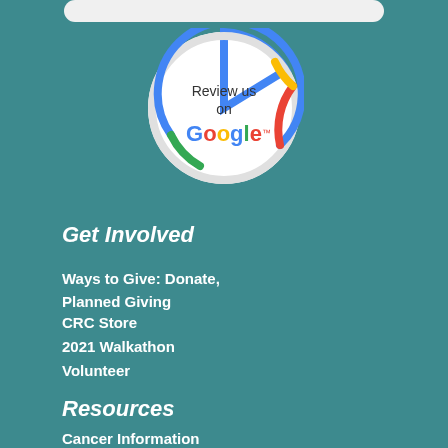[Figure (logo): Search bar at top of page]
[Figure (logo): Review us on Google circular badge with Google logo colors (blue, red, yellow, green) ring around white circle with text 'Review us on Google']
Get Involved
Ways to Give: Donate, Planned Giving
CRC Store
2021 Walkathon
Volunteer
Resources
Cancer Information
Cancer by Type